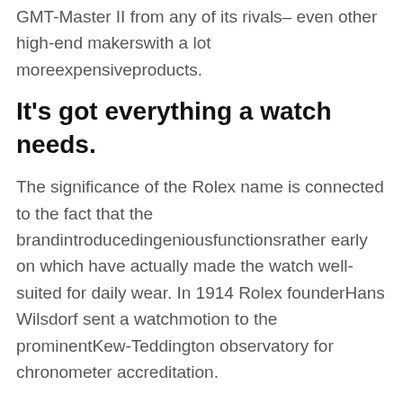GMT-Master II from any of its rivals– even other high-end makerswith a lot moreexpensiveproducts.
It's got everything a watch needs.
The significance of the Rolex name is connected to the fact that the brandintroducedingeniousfunctionsrather early on which have actually made the watch well-suited for daily wear. In 1914 Rolex founderHans Wilsdorf sent a watchmotion to the prominentKew-Teddington observatory for chronometer accreditation.
The COSC-certified Caliber 4130 that powers the Daytona.